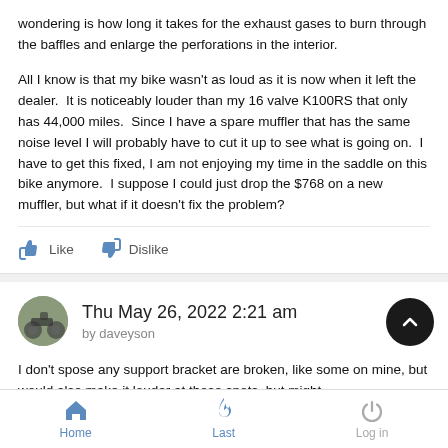wondering is how long it takes for the exhaust gases to burn through the baffles and enlarge the perforations in the interior.

All I know is that my bike wasn't as loud as it is now when it left the dealer. It is noticeably louder than my 16 valve K100RS that only has 44,000 miles. Since I have a spare muffler that has the same noise level I will probably have to cut it up to see what is going on. I have to get this fixed, I am not enjoying my time in the saddle on this bike anymore. I suppose I could just drop the $768 on a new muffler, but what if it doesn't fix the problem?
Like  Dislike
Thu May 26, 2022 2:21 am
by daveyson
I don't spose any support bracket are broken, like some on mine, but would also make it louder at those spots, but might
Home  Last  Log in